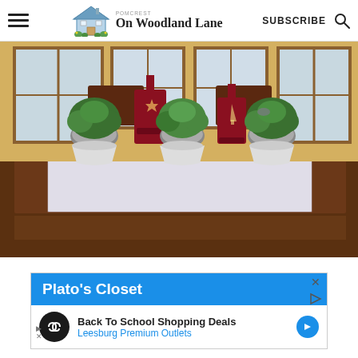On Woodland Lane - SUBSCRIBE
[Figure (photo): A dining table decorated with three potted green topiary plants in white urns and two dark red lanterns with star and tree cutouts, set on a patterned table runner, in front of windows with natural light.]
[Figure (screenshot): Advertisement for Plato's Closet with blue header bar. Below: Back To School Shopping Deals at Leesburg Premium Outlets with infinity logo and blue arrow.]